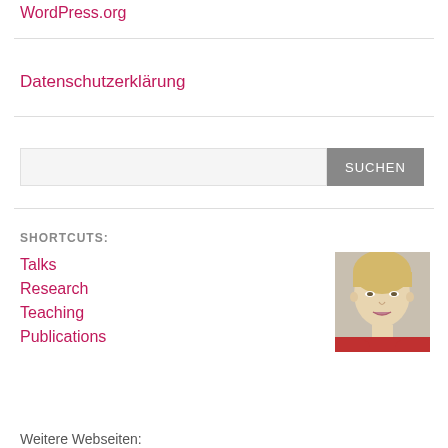WordPress.org
Datenschutzerklärung
SHORTCUTS:
Talks
Research
Teaching
Publications
[Figure (photo): Headshot of a blonde woman wearing a red top]
Weitere Webseiten: